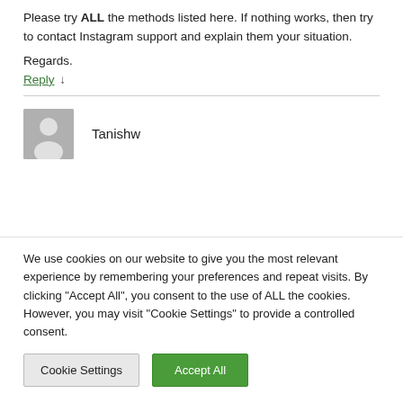Please try ALL the methods listed here. If nothing works, then try to contact Instagram support and explain them your situation.
Regards.
Reply ↓
Tanishw
We use cookies on our website to give you the most relevant experience by remembering your preferences and repeat visits. By clicking "Accept All", you consent to the use of ALL the cookies. However, you may visit "Cookie Settings" to provide a controlled consent.